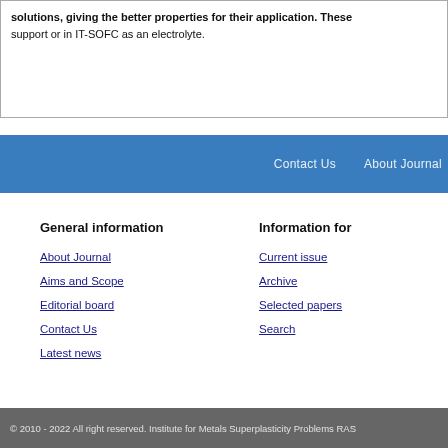solutions, giving the better properties for their application. These support or in IT-SOFC as an electrolyte.
Contact Us   About Journal
General information
About Journal
Aims and Scope
Editorial board
Contact Us
Latest news
Information for
Current issue
Archive
Selected papers
Search
© 2010 - 2022 All right reserved. Institute for Metals Superplasticity Problems RAS